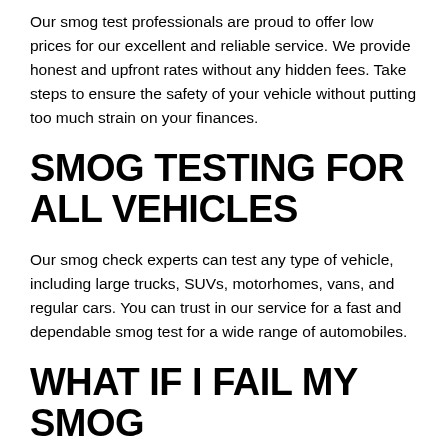Our smog test professionals are proud to offer low prices for our excellent and reliable service. We provide honest and upfront rates without any hidden fees. Take steps to ensure the safety of your vehicle without putting too much strain on your finances.
SMOG TESTING FOR ALL VEHICLES
Our smog check experts can test any type of vehicle, including large trucks, SUVs, motorhomes, vans, and regular cars. You can trust in our service for a fast and dependable smog test for a wide range of automobiles.
WHAT IF I FAIL MY SMOG